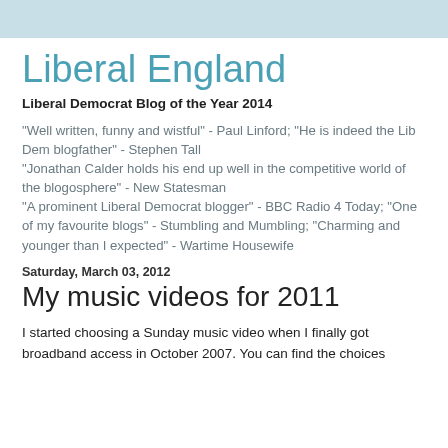Liberal England
Liberal Democrat Blog of the Year 2014
"Well written, funny and wistful" - Paul Linford; "He is indeed the Lib Dem blogfather" - Stephen Tall
"Jonathan Calder holds his end up well in the competitive world of the blogosphere" - New Statesman
"A prominent Liberal Democrat blogger" - BBC Radio 4 Today; "One of my favourite blogs" - Stumbling and Mumbling; "Charming and younger than I expected" - Wartime Housewife
Saturday, March 03, 2012
My music videos for 2011
I started choosing a Sunday music video when I finally got broadband access in October 2007. You can find the choices